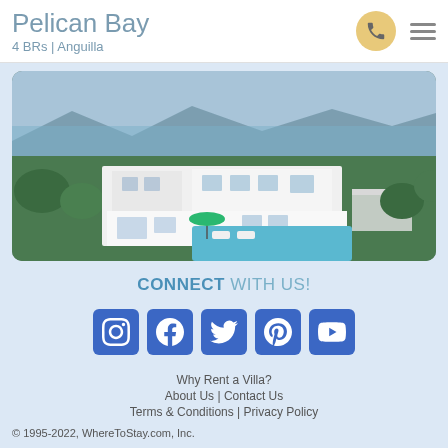Pelican Bay
4 BRs | Anguilla
[Figure (photo): Aerial view of a large white modern luxury villa with a swimming pool, surrounded by tropical greenery, with the sea and mountains visible in the background.]
CONNECT WITH US!
[Figure (infographic): Row of five social media icons: Instagram, Facebook, Twitter, Pinterest, YouTube — each in a blue rounded square button.]
Why Rent a Villa?
About Us | Contact Us
Terms & Conditions | Privacy Policy
© 1995-2022, WhereToStay.com, Inc.